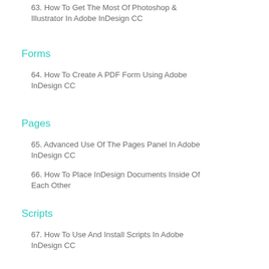63. How To Get The Most Of Photoshop & Illustrator In Adobe InDesign CC
Forms
64. How To Create A PDF Form Using Adobe InDesign CC
Pages
65. Advanced Use Of The Pages Panel In Adobe InDesign CC
66. How To Place InDesign Documents Inside Of Each Other
Scripts
67. How To Use And Install Scripts In Adobe InDesign CC